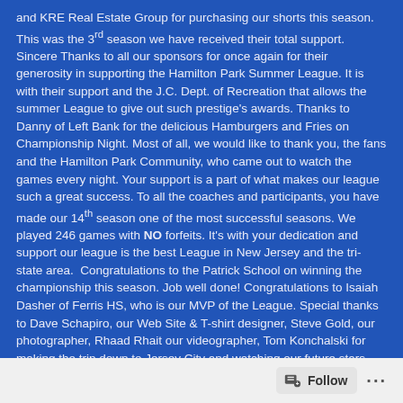and KRE Real Estate Group for purchasing our shorts this season. This was the 3rd season we have received their total support. Sincere Thanks to all our sponsors for once again for their generosity in supporting the Hamilton Park Summer League. It is with their support and the J.C. Dept. of Recreation that allows the summer League to give out such prestige's awards. Thanks to Danny of Left Bank for the delicious Hamburgers and Fries on Championship Night. Most of all, we would like to thank you, the fans and the Hamilton Park Community, who came out to watch the games every night. Your support is a part of what makes our league such a great success. To all the coaches and participants, you have made our 14th season one of the most successful seasons. We played 246 games with NO forfeits. It's with your dedication and support our league is the best League in New Jersey and the tri-state area. Congratulations to the Patrick School on winning the championship this season. Job well done! Congratulations to Isaiah Dasher of Ferris HS, who is our MVP of the League. Special thanks to Dave Schapiro, our Web Site & T-shirt designer, Steve Gold, our photographer, Rhaad Rhait our videographer, Tom Konchalski for making the trip down to Jersey City and watching our future stars
Follow ...